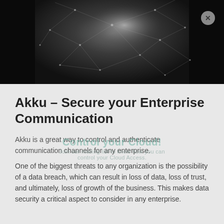[Figure (photo): Dark background image showing a digital network/connectivity pattern with glowing nodes and lines on a dark gray/black background, with an X close button in the top right corner.]
Akku – Secure your Enterprise Communication
Akku is a great way to control and authenticate communication channels for any enterprise.
One of the biggest threats to any organization is the possibility of a data breach, which can result in loss of data, loss of trust, and ultimately, loss of growth of the business. This makes data security a critical aspect to consider in any enterprise.